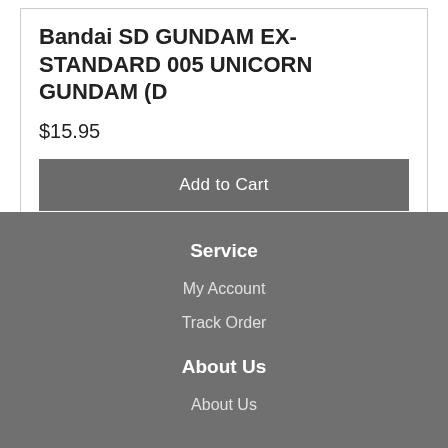Bandai SD GUNDAM EX-STANDARD 005 UNICORN GUNDAM (D
$15.95
Add to Cart
Service
My Account
Track Order
About Us
About Us